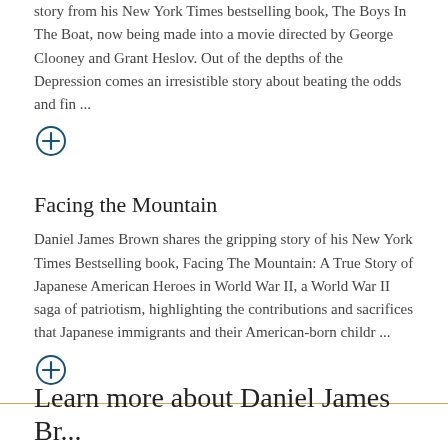story from his New York Times bestselling book, The Boys In The Boat, now being made into a movie directed by George Clooney and Grant Heslov. Out of the depths of the Depression comes an irresistible story about beating the odds and fin ...
[Figure (other): Circle with plus icon (expand/more button)]
Facing the Mountain
Daniel James Brown shares the gripping story of his New York Times Bestselling book, Facing The Mountain: A True Story of Japanese American Heroes in World War II, a World War II saga of patriotism, highlighting the contributions and sacrifices that Japanese immigrants and their American-born childr ...
[Figure (other): Circle with plus icon (expand/more button)]
Learn more about Daniel James Br...